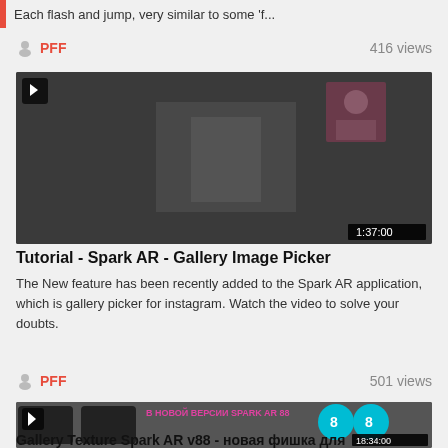Each flash and jump, very similar to some 'f...
PFF  416 views
[Figure (screenshot): Video thumbnail showing a dark scene with a person reflected in an AR mirror effect, duration 1:37:00, play button top-left]
Tutorial - Spark AR - Gallery Image Picker
The New feature has been recently added to the Spark AR application, which is gallery picker for instagram. Watch the video to solve your doubts.
PFF  501 views
[Figure (screenshot): Video thumbnail showing В НОВОЙ ВЕРСИИ SPARK AR 88 with phone screens showing AR effects including sunglasses, palm tree, and teal circles with 8s, duration 18:34:00]
Gallery Texture Spark AR v88 - новая фишка для